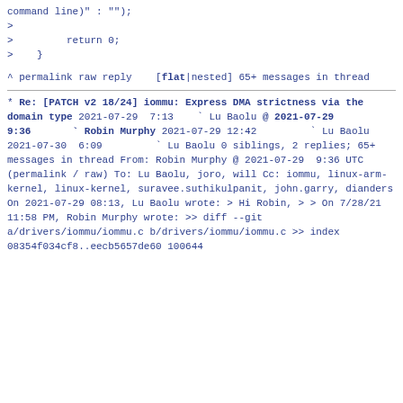command line)" : "");
>
>         return 0;
>    }
^ permalink raw reply    [flat|nested] 65+ messages in thread
* Re: [PATCH v2 18/24] iommu: Express DMA strictness via the domain type
  2021-07-29  7:13    ` Lu Baolu
@ 2021-07-29  9:36      ` Robin Murphy
  2021-07-29 12:42        ` Lu Baolu
  2021-07-30  6:09        ` Lu Baolu
  0 siblings, 2 replies; 65+ messages in thread
From: Robin Murphy @ 2021-07-29  9:36 UTC (permalink / raw)
  To: Lu Baolu, joro, will
  Cc: iommu, linux-arm-kernel, linux-kernel, suravee.suthikulpanit,
        john.garry, dianders

On 2021-07-29 08:13, Lu Baolu wrote:
> Hi Robin,
>
> On 7/28/21 11:58 PM, Robin Murphy wrote:
>> diff --git a/drivers/iommu/iommu.c b/drivers/iommu/iommu.c
>> index 08354f034cf8..eecb5657de60 100644